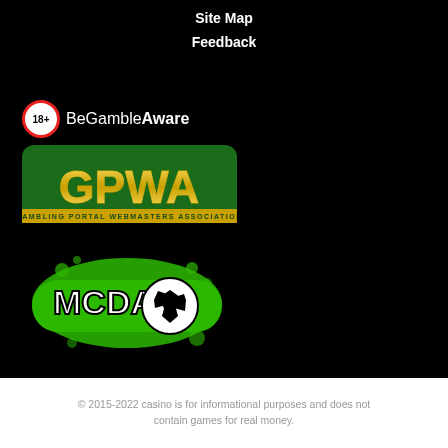Site Map
Feedback
[Figure (logo): BeGambleAware logo with 18+ badge and text]
[Figure (logo): GPWA - Gambling Portal Webmasters Association logo, green rounded rectangle with gold letters]
[Figure (logo): MCDA logo with soccer ball on green background]
© 2015-2022 casino is for informational purposes and does not contain games for real money.